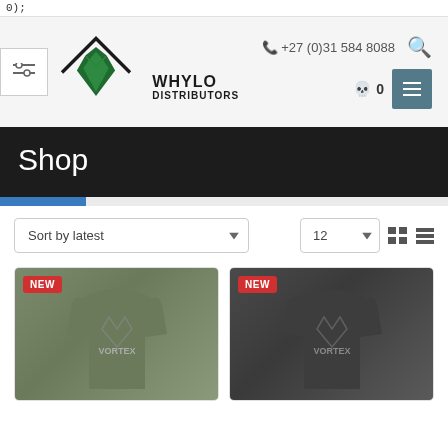0;
[Figure (logo): Whylo Distributors logo - green diamond shape with house roof outline and WHYLO DISTRIBUTORS text]
+27 (0)31 584 8088
Shop
Sort by latest
12
[Figure (photo): Olive green long sleeve shirt with Vortex logo, NEW badge]
[Figure (photo): Dark grey long sleeve shirt with Vortex logo, NEW badge]